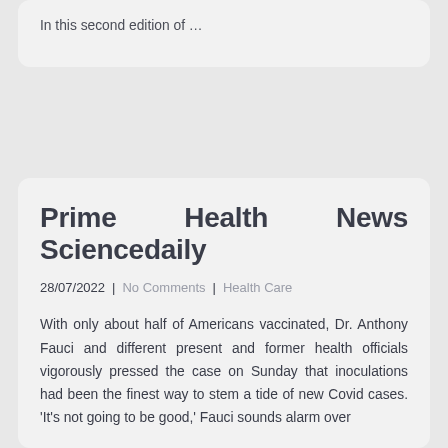In this second edition of …
Prime Health News Sciencedaily
28/07/2022 | No Comments | Health Care
With only about half of Americans vaccinated, Dr. Anthony Fauci and different present and former health officials vigorously pressed the case on Sunday that inoculations had been the finest way to stem a tide of new Covid cases. 'It's not going to be good,' Fauci sounds alarm over…